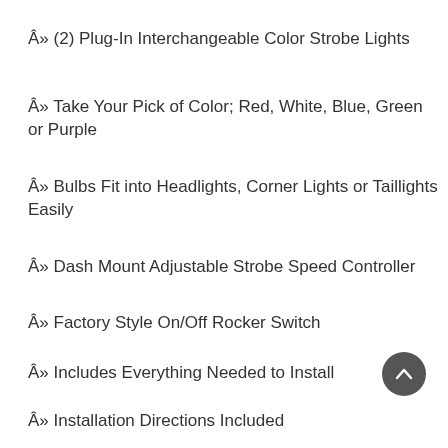Â» (2) Plug-In Interchangeable Color Strobe Lights
Â» Take Your Pick of Color; Red, White, Blue, Green or Purple
Â» Bulbs Fit into Headlights, Corner Lights or Taillights Easily
Â» Dash Mount Adjustable Strobe Speed Controller
Â» Factory Style On/Off Rocker Switch
Â» Includes Everything Needed to Install
Â» Installation Directions Included
Â»